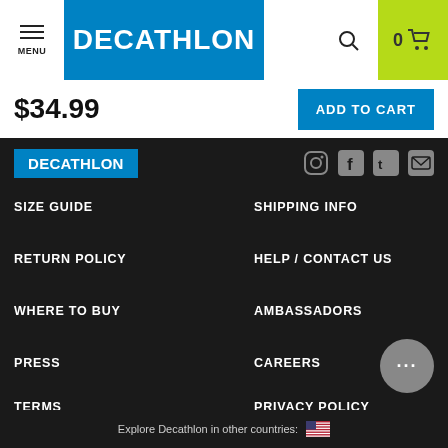MENU | DECATHLON | 0 cart
$34.99
ADD TO CART
[Figure (logo): Decathlon logo in blue background with white text, plus social media icons on right]
SIZE GUIDE
SHIPPING INFO
RETURN POLICY
HELP / CONTACT US
WHERE TO BUY
AMBASSADORS
PRESS
CAREERS
TERMS
PRIVACY POLICY
PRODUCT RECALLS
SUPPLY CHAIN DISCLOSURE
DECATHLON ACCESSIBILITY STATEMENT
Explore Decathlon in other countries: